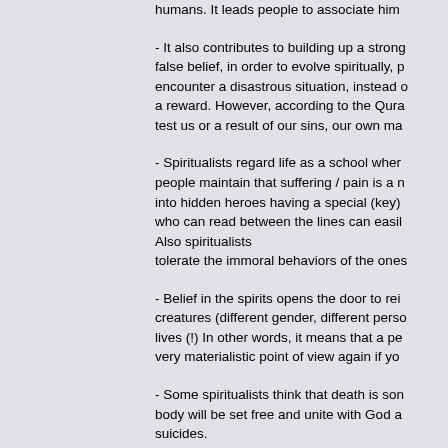humans. It leads people to associate him
- It also contributes to building up a strong false belief, in order to evolve spiritually, p encounter a disastrous situation, instead o a reward. However, according to the Qura test us or a result of our sins, our own ma
- Spiritualists regard life as a school wher people maintain that suffering / pain is a n into hidden heroes having a special (key) who can read between the lines can easil Also spiritualists tolerate the immoral behaviors of the ones
- Belief in the spirits opens the door to rei creatures (different gender, different perso lives (!) In other words, it means that a pe very materialistic point of view again if yo
- Some spiritualists think that death is son body will be set free and unite with God a suicides.
- People, who believe that people have sp Day with reincarnation and thus, they wo